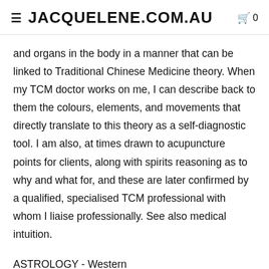≡ JACQUELENE.COM.AU  🛍 0
and organs in the body in a manner that can be linked to Traditional Chinese Medicine theory. When my TCM doctor works on me, I can describe back to them the colours, elements, and movements that directly translate to this theory as a self-diagnostic tool. I am also, at times drawn to acupuncture points for clients, along with spirits reasoning as to why and what for, and these are later confirmed by a qualified, specialised TCM professional with whom I liaise professionally. See also medical intuition.
ASTROLOGY - Western